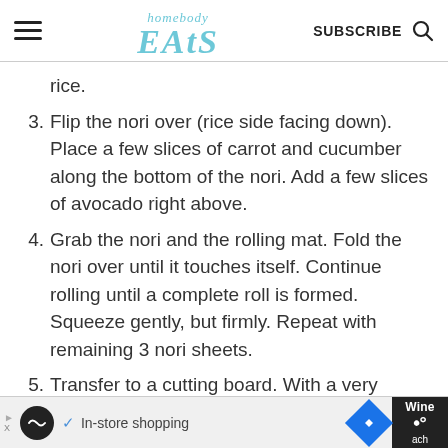homebody EATS — SUBSCRIBE
rice.
3. Flip the nori over (rice side facing down). Place a few slices of carrot and cucumber along the bottom of the nori. Add a few slices of avocado right above.
4. Grab the nori and the rolling mat. Fold the nori over until it touches itself. Continue rolling until a complete roll is formed. Squeeze gently, but firmly. Repeat with remaining 3 nori sheets.
5. Transfer to a cutting board. With a very